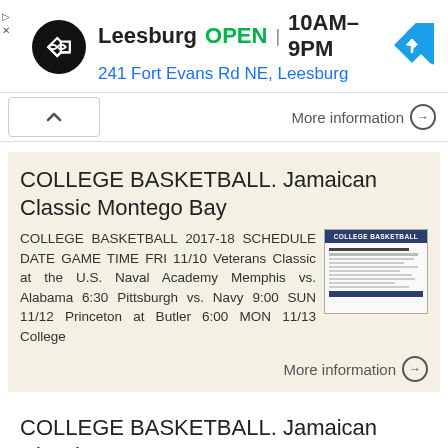[Figure (screenshot): Ad banner for a store in Leesburg showing logo, OPEN status, hours 10AM-9PM, address 241 Fort Evans Rd NE, Leesburg, and navigation icon]
More information →
COLLEGE BASKETBALL. Jamaican Classic Montego Bay
COLLEGE BASKETBALL 2017-18 SCHEDULE DATE GAME TIME FRI 11/10 Veterans Classic at the U.S. Naval Academy Memphis vs. Alabama 6:30 Pittsburgh vs. Navy 9:00 SUN 11/12 Princeton at Butler 6:00 MON 11/13 College
More information →
COLLEGE BASKETBALL. Jamaican Classic Montego Bay
COLLEGE BASKETBALL 2017-18 SCHEDULE